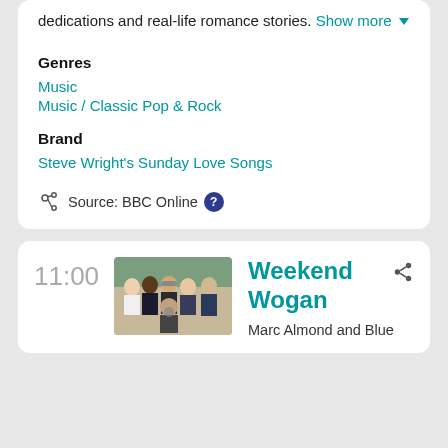dedications and real-life romance stories. Show more
Genres
Music
Music / Classic Pop & Rock
Brand
Steve Wright's Sunday Love Songs
Source: BBC Online
11:00
[Figure (photo): Group photo of several people including Marc Almond and Blue members]
Weekend Wogan
Marc Almond and Blue